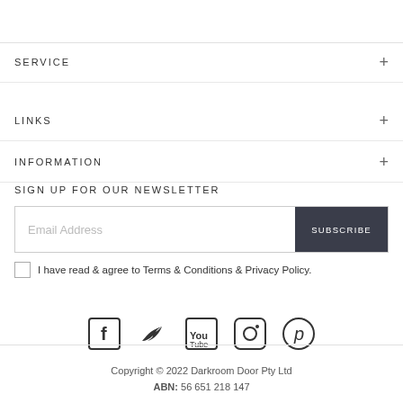SERVICE
LINKS
INFORMATION
SIGN UP FOR OUR NEWSLETTER
Email Address
SUBSCRIBE
I have read & agree to Terms & Conditions & Privacy Policy.
[Figure (other): Social media icons: Facebook, Twitter, YouTube, Instagram, Pinterest]
Copyright © 2022 Darkroom Door Pty Ltd
ABN: 56 651 218 147